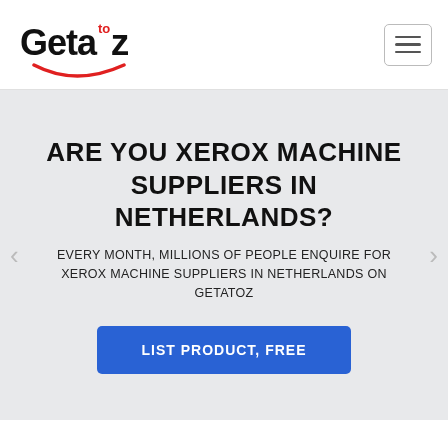[Figure (logo): Getatoz logo with 'to' superscript in red between 'Geta' and 'z', with a red smile arc underneath]
ARE YOU XEROX MACHINE SUPPLIERS IN NETHERLANDS?
EVERY MONTH, MILLIONS OF PEOPLE ENQUIRE FOR XEROX MACHINE SUPPLIERS IN NETHERLANDS ON GETATOZ
LIST PRODUCT, FREE